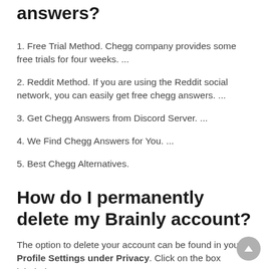How do you get free chegg answers?
1. Free Trial Method. Chegg company provides some free trials for four weeks. ...
2. Reddit Method. If you are using the Reddit social network, you can easily get free chegg answers. ...
3. Get Chegg Answers from Discord Server. ...
4. We Find Chegg Answers for You. ...
5. Best Chegg Alternatives.
How do I permanently delete my Brainly account?
The option to delete your account can be found in your Profile Settings under Privacy. Click on the box labeled